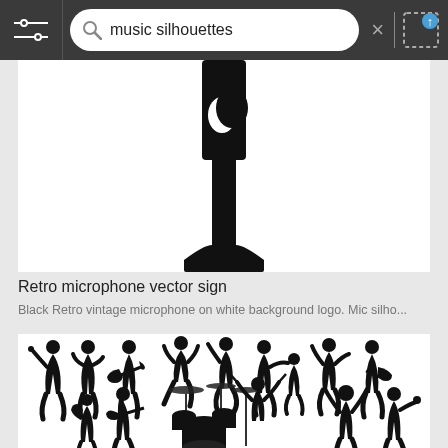music silhouettes
[Figure (illustration): Partial close-up of a black retro microphone silhouette on white background, cropped showing the bottom grip and stand.]
Retro microphone vector sign
Black Retro vintage microphone on white background logo. Mic silho...
[Figure (illustration): Multiple black silhouettes of musicians and dancers on white background: singers with microphones, guitar players, dancers, a drummer at a drum kit, and performers with arms raised.]